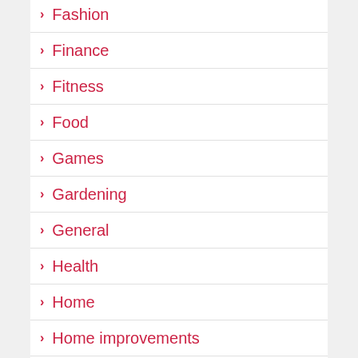Fashion
Finance
Fitness
Food
Games
Gardening
General
Health
Home
Home improvements